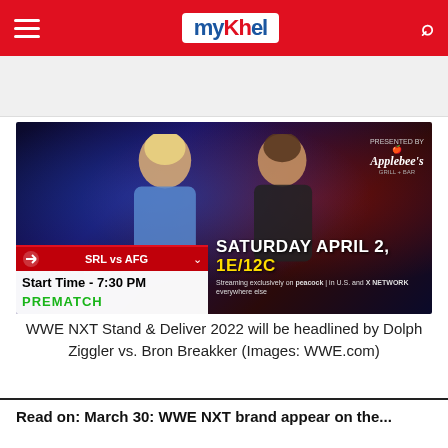myKhel
[Figure (photo): WWE NXT Stand & Deliver 2022 promotional image showing Dolph Ziggler and Bron Breakker facing off, with Saturday April 2 1E/12C event details. Streaming on Peacock and WWE Network. Applebee's sponsor logo. Overlay ticker showing SRL vs AFG, Start Time 7:30 PM, PREMATCH.]
WWE NXT Stand & Deliver 2022 will be headlined by Dolph Ziggler vs. Bron Breakker (Images: WWE.com)
Read on: March 30: WWE NXT brand appear on the...